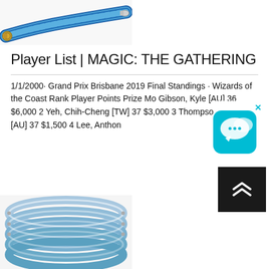[Figure (photo): Blue braided hose coiled, partially visible at top of page]
Player List | MAGIC: THE GATHERING
1/1/2000· Grand Prix Brisbane 2019 Final Standings · Wizards of the Coast Rank Player Points Prize Mo Gibson, Kyle [AU] 36 $6,000 2 Yeh, Chih-Cheng [TW] 37 $3,000 3 Thompson, Chris [AU] 37 $1,500 4 Lee, Anthon
[Figure (photo): Blue coiled spiral hose on white background]